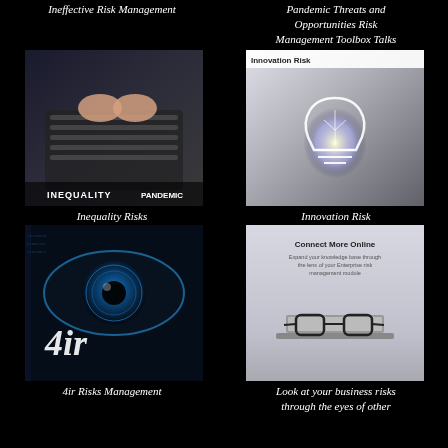Ineffective Risk Management
Pandemic Threats and Opportunities Risk Management Toolbox Talks
[Figure (photo): Person typing on a laptop keyboard with pencils and colorful items visible. Text overlay: INEQUALITY PANDEMIC]
[Figure (photo): Glowing light bulb held by a hand in a dark suit background. Header text: Innovation Risk]
Inequality Risks
Innovation Risk
[Figure (photo): Close-up of a blue human eye with digital binary overlay. Text overlay: 4ir]
[Figure (photo): Glasses resting in front of a laptop on a light grey surface. Header: Connect More Online with subtitle text about enterprise risk management.]
4ir Risks Management
Look at your business risks through the eyes of other